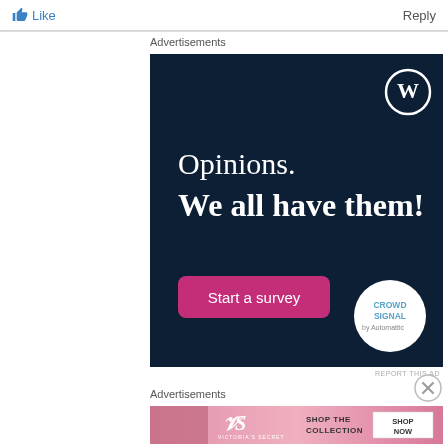[Figure (screenshot): Like button with thumbs up icon in blue]
Reply
Advertisements
[Figure (illustration): WordPress / Crowdsignal advertisement with dark navy background. Text: Opinions. We all have them! With a pink 'Start a survey' button, WordPress logo top right, and Crowdsignal logo bottom right.]
REPORT THIS AD
[Figure (illustration): Close / X button circle]
Advertisements
[Figure (illustration): Victoria's Secret advertisement banner. Pink gradient background with VS logo, text: SHOP THE COLLECTION, and SHOP NOW button.]
REPORT THIS AD